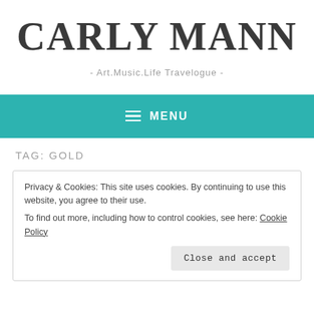CARLY MANN
- Art.Music.Life Travelogue -
≡ MENU
TAG: GOLD
Privacy & Cookies: This site uses cookies. By continuing to use this website, you agree to their use.
To find out more, including how to control cookies, see here: Cookie Policy
Close and accept